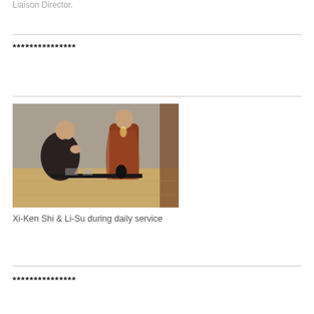Liaison Director.
***************
[Figure (photo): Two people in a room during a daily service ceremony. One person is bowing with hands clasped, wearing dark robes. The other is standing wearing orange/brown robes. A small black Buddha statue and other items are on a low black table in the foreground.]
Xi-Ken Shi & Li-Su during daily service
***************